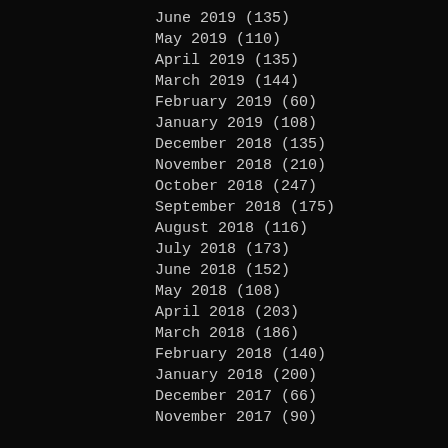June 2019 (135)
May 2019 (110)
April 2019 (135)
March 2019 (144)
February 2019 (60)
January 2019 (108)
December 2018 (135)
November 2018 (210)
October 2018 (247)
September 2018 (175)
August 2018 (116)
July 2018 (173)
June 2018 (152)
May 2018 (108)
April 2018 (203)
March 2018 (186)
February 2018 (140)
January 2018 (200)
December 2017 (66)
November 2017 (90)